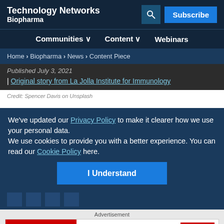Technology Networks Biopharma
Communities ∨ | Content ∨ | Webinars
Home > Biopharma > News > Content Piece
Published July 3, 2021
| Original story from La Jolla Institute for Immunology
Credit: Spencer Davis on Unsplash
We’ve updated our Privacy Policy to make it clearer how we use your personal data. We use cookies to provide you with a better experience. You can read our Cookie Policy here.
I Understand
Advertisement
[Figure (other): ThermoFisher Scientific advertisement banner: Do you use qPCR and dPCR to develop biologics? Explore now. applied biosystems.]